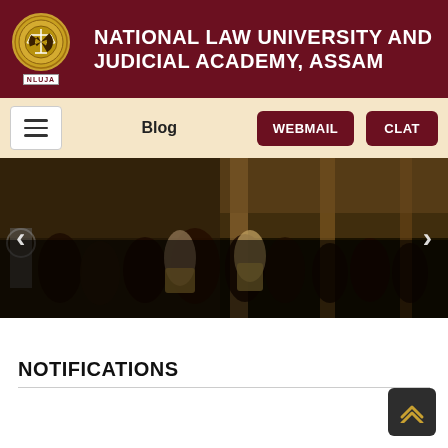NATIONAL LAW UNIVERSITY AND JUDICIAL ACADEMY, ASSAM
[Figure (logo): NLUJA circular emblem with scales of justice, gold and dark red, with NLUJA label below]
Blog
WEBMAIL
CLAT
[Figure (photo): Slideshow banner photo showing a group of people gathered in what appears to be an indoor event/seminar at a university. Navigation arrows on left and right sides.]
NOTIFICATIONS